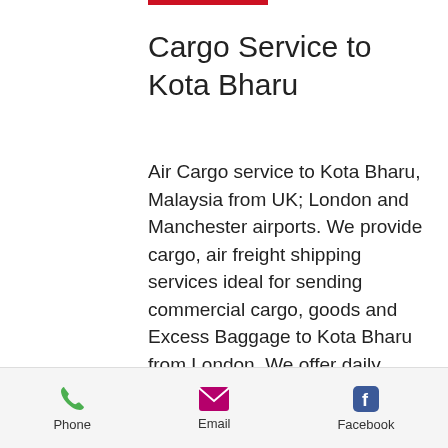Cargo Service to Kota Bharu
Air Cargo service to Kota Bharu, Malaysia from UK; London and Manchester airports. We provide cargo, air freight shipping services ideal for sending commercial cargo, goods and Excess Baggage to Kota Bharu from London. We offer daily cargo collection and shipping services from the England, Scotland and Wales to Kota Bharu air freight forwarding services to Malaysia. We are well established for sending cargo or freight. We provided door to door urgent courier services for parcels and documents, should your require a on-board courier to hand deliver your urgent
Phone  Email  Facebook